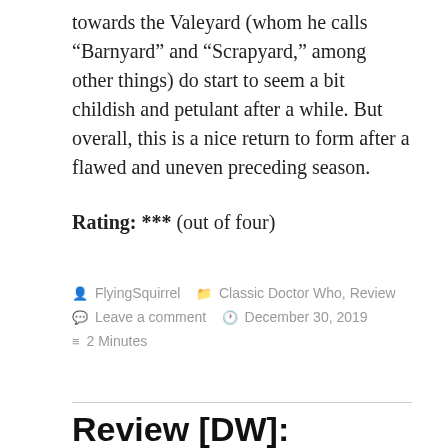towards the Valeyard (whom he calls “Barnyard” and “Scrapyard,” among other things) do start to seem a bit childish and petulant after a while. But overall, this is a nice return to form after a flawed and uneven preceding season.
Rating: *** (out of four)
FlyingSquirrel   Classic Doctor Who, Review   Leave a comment   December 30, 2019   2 Minutes
Review [DW]: “Revelation of the Daleks”